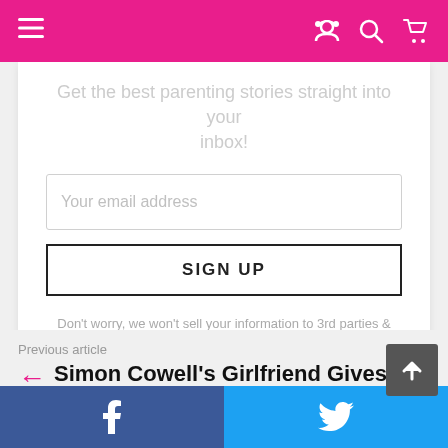Navigation bar with hamburger menu, share, search, and cart icons
Get the best parenting stories straight into your inbox!
Your email address
SIGN UP
Don't worry, we won't sell your information to 3rd parties & we definitely don't spam :)
Previous article
Simon Cowell's Girlfriend Gives Birth to a Son
Facebook and Twitter share buttons